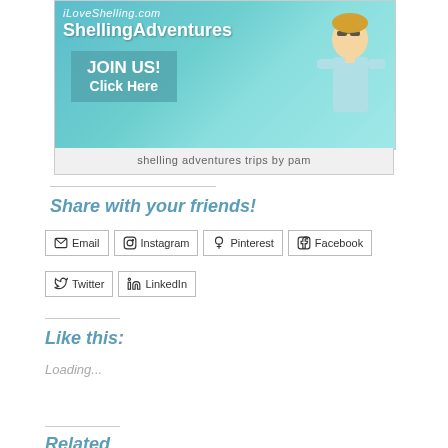[Figure (photo): Advertisement banner for iLoveShelling.com ShellingAdventures with a woman in sunglasses wearing teal, ocean background, with JOIN US! Click Here button]
shelling adventures trips by pam
Share with your friends!
Email
Instagram
Pinterest
Facebook
Twitter
LinkedIn
Like this:
Loading...
Related